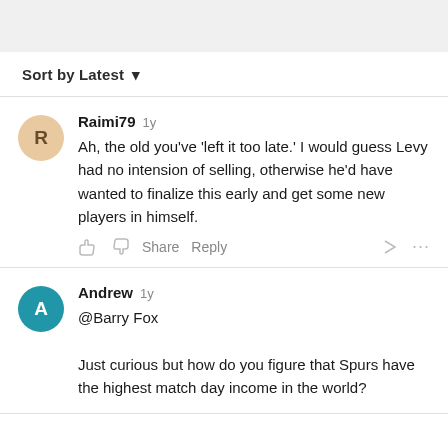Sort by Latest ▾
Raimi79 1y
Ah, the old you've 'left it too late.' I would guess Levy had no intension of selling, otherwise he'd have wanted to finalize this early and get some new players in himself.
Andrew 1y
@Barry Fox

Just curious but how do you figure that Spurs have the highest match day income in the world?